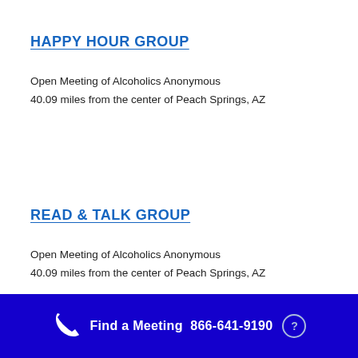HAPPY HOUR GROUP
Open Meeting of Alcoholics Anonymous
40.09 miles from the center of Peach Springs, AZ
READ & TALK GROUP
Open Meeting of Alcoholics Anonymous
40.09 miles from the center of Peach Springs, AZ
Find a Meeting  866-641-9190